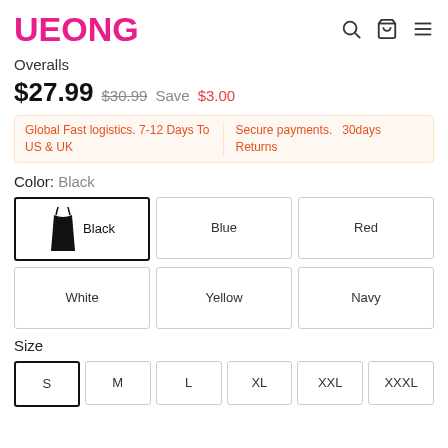UEONG
Overalls
$27.99  $30.99  Save  $3.00
Global Fast logistics. 7-12 Days To US & UK    Secure payments. 30days Returns
Color: Black
Black | Blue | Red | White | Yellow | Navy
Size
S | M | L | XL | XXL | XXXL